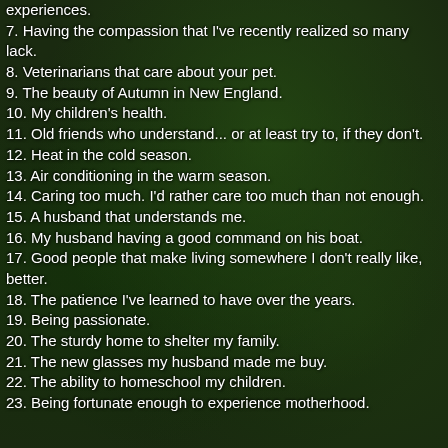experiences.
7. Having the compassion that I've recently realized so many lack.
8. Veterinarians that care about your pet.
9. The beauty of Autumn in New England.
10. My children's health.
11. Old friends who understand... or at least try to, if they don't.
12. Heat in the cold season.
13. Air conditioning in the warm season.
14. Caring too much. I'd rather care too much than not enough.
15. A husband that understands me.
16. My husband having a good command on his boat.
17. Good people that make living somewhere I don't really like, better.
18. The patience I've learned to have over the years.
19. Being passionate.
20. The sturdy home to shelter my family.
21. The new glasses my husband made me buy.
22. The ability to homeschool my children.
23. Being fortunate enough to experience motherhood.